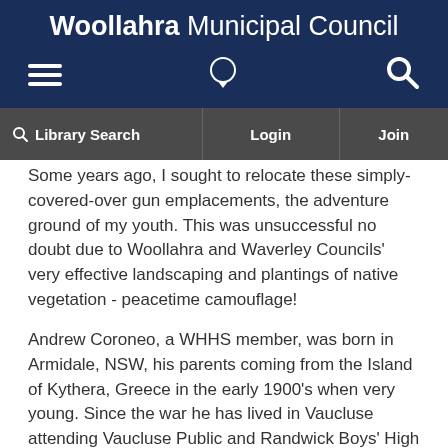Woollahra Municipal Council
[Figure (screenshot): Navigation bar with hamburger menu icon, chat icon, and search icon on dark navy background]
[Figure (screenshot): Secondary nav bar with Library Search, Login, and Join options on dark grey background]
Some years ago, I sought to relocate these simply-covered-over gun emplacements, the adventure ground of my youth. This was unsuccessful no doubt due to Woollahra and Waverley Councils' very effective landscaping and plantings of native vegetation - peacetime camouflage!
Andrew Coroneo, a WHHS member, was born in Armidale, NSW, his parents coming from the Island of Kythera, Greece in the early 1900's when very young. Since the war he has lived in Vaucluse attending Vaucluse Public and Randwick Boys' High Schools, then Sydney University. He worked as a pharmacist  and now owns a travel agency in Woollahra.